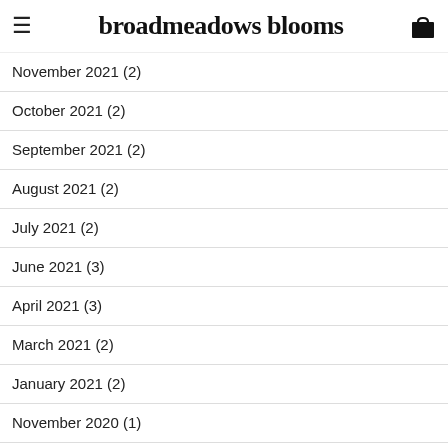broadmeadows blooms
January 2022 (2)
November 2021 (2)
October 2021 (2)
September 2021 (2)
August 2021 (2)
July 2021 (2)
June 2021 (3)
April 2021 (3)
March 2021 (2)
January 2021 (2)
November 2020 (1)
September 2020 (2)
August 2020 (1)
March 2020 (3)